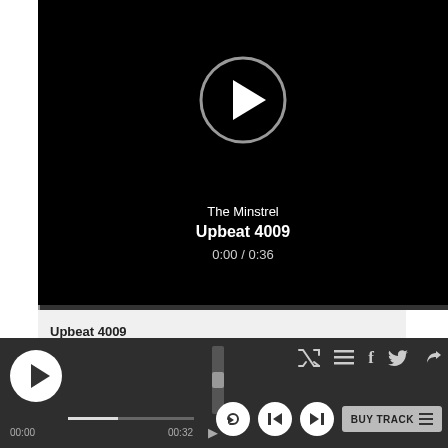[Figure (screenshot): Music player UI showing a video/audio player with black background, a circular play button, track info showing 'The Minstrel / Upbeat 4009 / 0:00 / 0:36', a playlist row for 'Upbeat 4009 by The Minstrel' with duration 0:36, and a bottom control bar with play, seek bar, volume, shuffle, list, social share, replay, skip-back, skip-forward, and buy track buttons.]
The Minstrel
Upbeat 4009
0:00 / 0:36
Upbeat 4009
The Minstrel
0:36
00:00
00:32
BUY TRACK